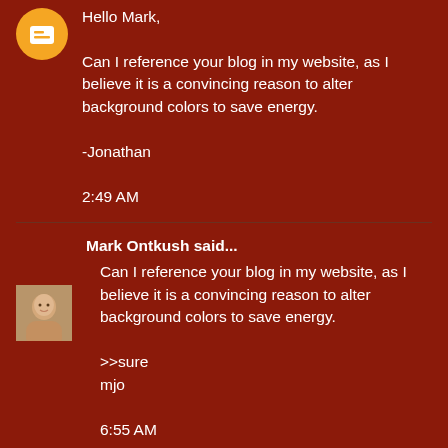Hello Mark,

Can I reference your blog in my website, as I believe it is a convincing reason to alter background colors to save energy.

-Jonathan

2:49 AM
Mark Ontkush said...

Can I reference your blog in my website, as I believe it is a convincing reason to alter background colors to save energy.

>>sure
mjo

6:55 AM
Mark said...